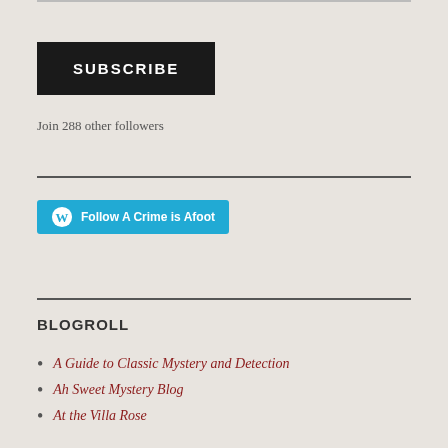[Figure (other): SUBSCRIBE button — black rectangle with white bold uppercase text]
Join 288 other followers
[Figure (other): Follow A Crime is Afoot — blue WordPress follow button with WP logo]
BLOGROLL
A Guide to Classic Mystery and Detection
Ah Sweet Mystery Blog
At the Villa Rose